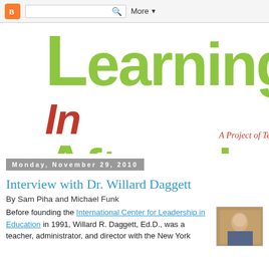Blogger navigation bar with search and More menu
[Figure (logo): Learning In Afterschool blog logo — large green bold text 'Learning' above 'In Afterschool' with orange-red italic 'In'. Subtitle: 'A Project of Temescal ...']
Monday, November 29, 2010
Interview with Dr. Willard Daggett
By Sam Piha and Michael Funk
Before founding the International Center for Leadership in Education in 1991, Willard R. Daggett, Ed.D., was a teacher, administrator, and director with the New York...